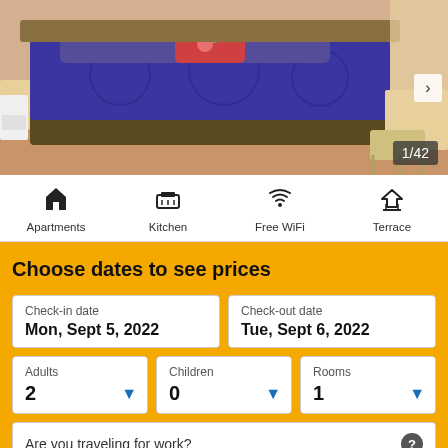[Figure (photo): Bedroom with a blue/purple bedspread on a double bed, terracotta tile floor, white furniture and curtains. Photo counter shows 1/42.]
Apartments
Kitchen
Free WiFi
Terrace
Choose dates to see prices
Check-in date
Mon, Sept 5, 2022
Check-out date
Tue, Sept 6, 2022
Adults
2
Children
0
Rooms
1
Are you traveling for work?